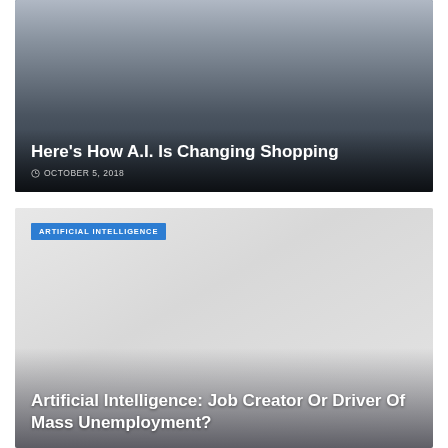[Figure (photo): Woman sitting on couch with laptop, shopping or browsing online. Dark atmospheric lighting.]
Here’s How A.I. Is Changing Shopping
© OCTOBER 5, 2018
ARTIFICIAL INTELLIGENCE
[Figure (photo): Light grey placeholder image for second article about AI and jobs.]
Artificial Intelligence: Job Creator Or Driver Of Mass Unemployment?